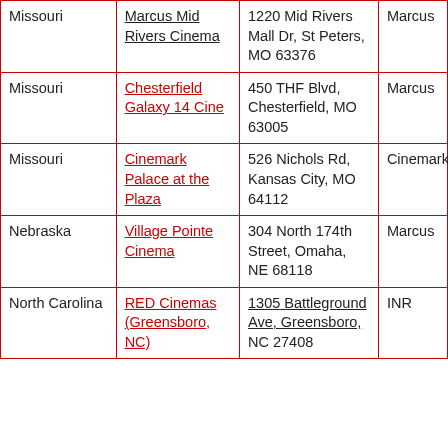| State | Cinema | Address | Chain |
| --- | --- | --- | --- |
| Missouri | Marcus Mid Rivers Cinema | 1220 Mid Rivers Mall Dr, St Peters, MO 63376 | Marcus |
| Missouri | Chesterfield Galaxy 14 Cine | 450 THF Blvd, Chesterfield, MO 63005 | Marcus |
| Missouri | Cinemark Palace at the Plaza | 526 Nichols Rd, Kansas City, MO 64112 | Cinemark |
| Nebraska | Village Pointe Cinema | 304 North 174th Street, Omaha, NE 68118 | Marcus |
| North Carolina | RED Cinemas (Greensboro, NC) | 1305 Battleground Ave, Greensboro, NC 27408 | INR |